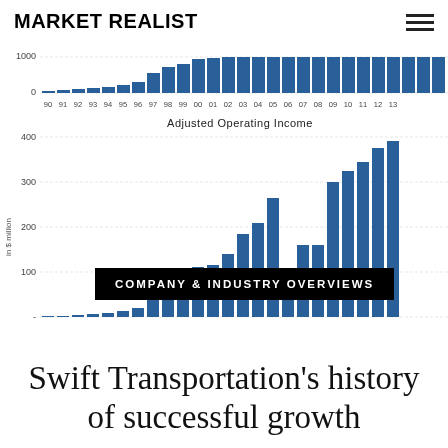MARKET REALIST
[Figure (bar-chart): Adjusted Operating Income]
COMPANY & INDUSTRY OVERVIEWS
Swift Transportation's history of successful growth